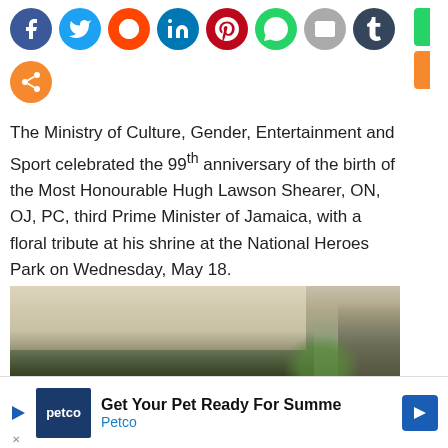[Figure (other): Row of social media sharing icons (Facebook, Twitter, Reddit, LinkedIn, Pinterest, WhatsApp, Email, Tumblr) and a second row with a share icon, plus partial sidebar icons on the right edge]
The Ministry of Culture, Gender, Entertainment and Sport celebrated the 99th anniversary of the birth of the Most Honourable Hugh Lawson Shearer, ON, OJ, PC, third Prime Minister of Jamaica, with a floral tribute at his shrine at the National Heroes Park on Wednesday, May 18.
[Figure (photo): Outdoor ceremony photo showing audience seated under a tent and a speaker/presenter standing on the right, at the National Heroes Park event commemorating Hugh Lawson Shearer's birth anniversary]
Get Your Pet Ready For Summe Petco